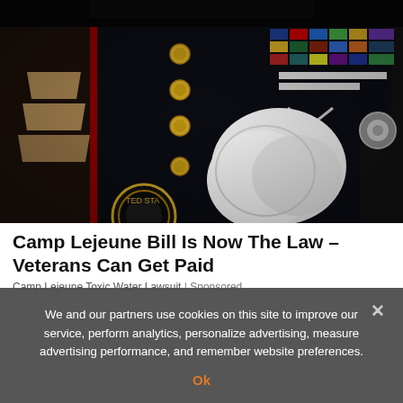[Figure (photo): Close-up photograph of a US Marine in dress uniform, showing military medals, ribbons, rank insignia (chevrons), gold buttons, and white gloved hands. The USMC emblem is partially visible at the bottom.]
Camp Lejeune Bill Is Now The Law – Veterans Can Get Paid
Camp Lejeune Toxic Water Lawsuit | Sponsored
We and our partners use cookies on this site to improve our service, perform analytics, personalize advertising, measure advertising performance, and remember website preferences.
Ok